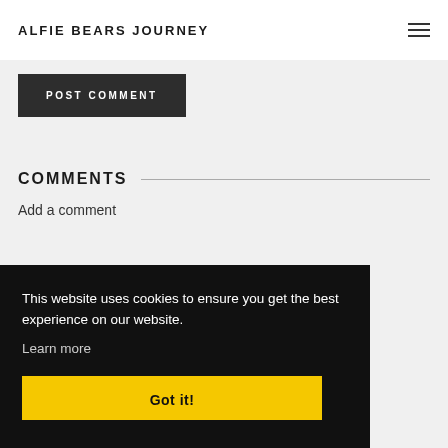ALFIE BEARS JOURNEY
POST COMMENT
COMMENTS
Add a comment
This website uses cookies to ensure you get the best experience on our website.
Learn more
Got it!